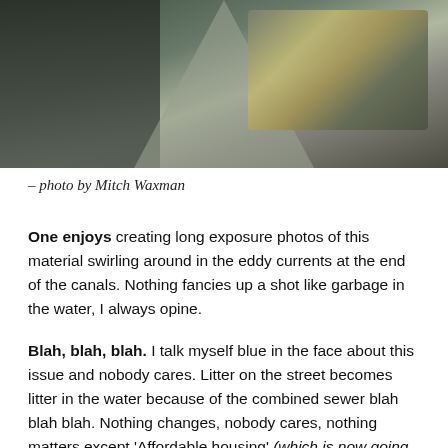[Figure (photo): Long exposure photograph of water with garbage/debris swirling in eddy currents at the end of a canal. A dark road or pier perspective leads into murky water with sparkling debris on the right side.]
– photo by Mitch Waxman
One enjoys creating long exposure photos of this material swirling around in the eddy currents at the end of the canals. Nothing fancies up a shot like garbage in the water, I always opine.
Blah, blah, blah. I talk myself blue in the face about this issue and nobody cares. Litter on the street becomes litter in the water because of the combined sewer blah blah blah. Nothing changes, nobody cares, nothing matters except 'Affordable housing' (which is now going to be referred to as "deeply affordable housing," if you want a